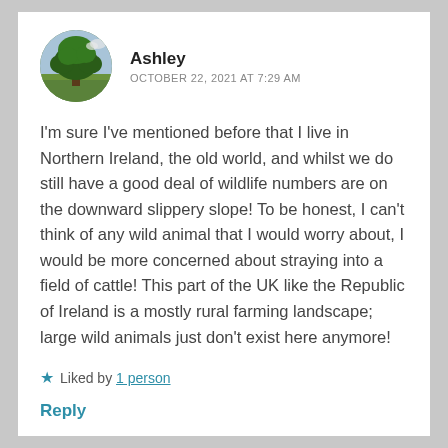[Figure (illustration): Circular avatar photo of a large oak tree in a green field under a partly cloudy sky]
Ashley
OCTOBER 22, 2021 AT 7:29 AM
I'm sure I've mentioned before that I live in Northern Ireland, the old world, and whilst we do still have a good deal of wildlife numbers are on the downward slippery slope! To be honest, I can't think of any wild animal that I would worry about, I would be more concerned about straying into a field of cattle! This part of the UK like the Republic of Ireland is a mostly rural farming landscape; large wild animals just don't exist here anymore!
★ Liked by 1 person
Reply